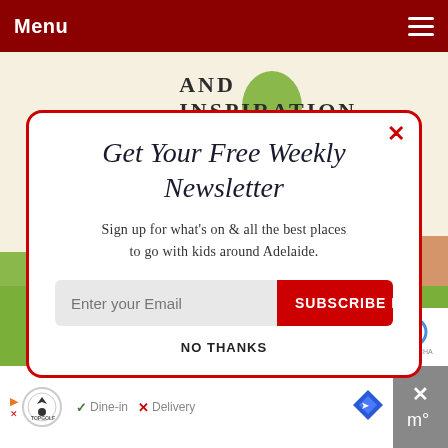Menu
[Figure (screenshot): Background illustration with houses, trees and 'AND INSPIRATION' text with POWERED BY SUMO badge]
Get Your Free Weekly Newsletter
Sign up for what's on & all the best places to go with kids around Adelaide.
Enter your Email  SUBSCRIBE NOW
NO THANKS
PRESS & MEDIA
[Figure (screenshot): Ad banner for TopGolf with Dine-in and Delivery options]